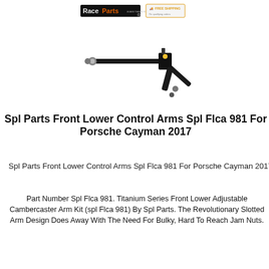[Figure (logo): RaceParts logo and Free Shipping badge in page header]
[Figure (photo): Product photo of SPL Parts front lower control arm kit (black adjustable arm with ball joints)]
Spl Parts Front Lower Control Arms Spl Flca 981 For Porsche Cayman 2017
Spl Parts Front Lower Control Arms Spl Flca 981 For Porsche Cayman 2017
Part Number Spl Flca 981. Titanium Series Front Lower Adjustable Cambercaster Arm Kit (spl Flca 981) By Spl Parts. The Revolutionary Slotted Arm Design Does Away With The Need For Bulky, Hard To Reach Jam Nuts.